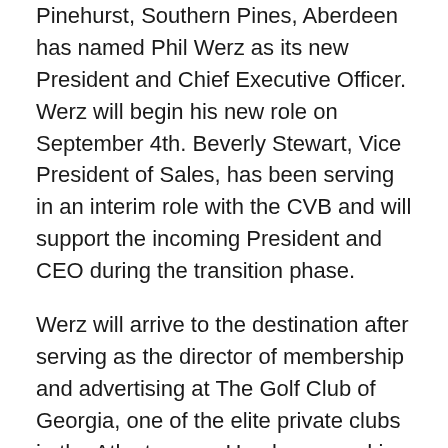Pinehurst, Southern Pines, Aberdeen has named Phil Werz as its new President and Chief Executive Officer. Werz will begin his new role on September 4th. Beverly Stewart, Vice President of Sales, has been serving in an interim role with the CVB and will support the incoming President and CEO during the transition phase.
Werz will arrive to the destination after serving as the director of membership and advertising at The Golf Club of Georgia, one of the elite private clubs in the Atlanta area. He also served in a similar capacity at The Manor Golf and Country Club in Milton, Ga. The CVB made their decision after a search nationally and internationally.
“After an extensive search, the CVB Board is very